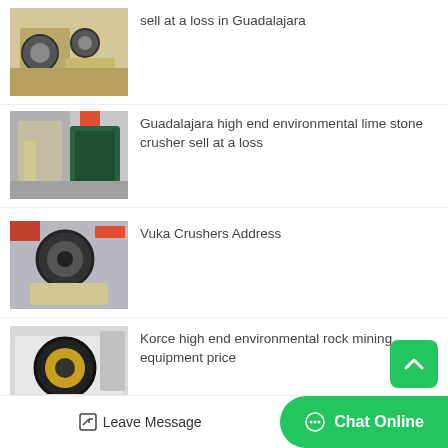[Figure (photo): Industrial jaw crusher machine, yellow/beige color, factory setting]
sell at a loss in Guadalajara
[Figure (photo): Industrial stone crusher equipment with green machine, factory setting]
Guadalajara high end environmental lime stone crusher sell at a loss
[Figure (photo): Jaw crusher machine, industrial factory, red crane in background]
Vuka Crushers Address
[Figure (photo): Large white jaw crusher machine, industrial factory]
Korce high end environmental rock mining equipment price
[Figure (photo): Partially visible industrial equipment, bottom of page]
Leave Message
Chat Online